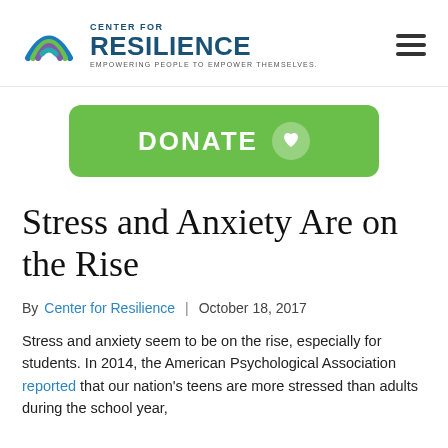[Figure (logo): Center for Resilience logo with layered wave/arc icon in teal, green, and purple colors, with text CENTER FOR RESILIENCE and tagline EMPOWERING PEOPLE TO EMPOWER THEMSELVES.]
[Figure (other): Green DONATE button with heart icon inside a white circle, rounded rectangle shape]
Stress and Anxiety Are on the Rise
By Center for Resilience | October 18, 2017
Stress and anxiety seem to be on the rise, especially for students. In 2014, the American Psychological Association reported that our nation's teens are more stressed than adults during the school year,